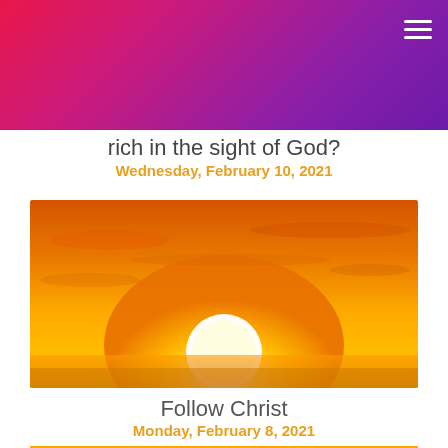rich in the sight of God?
Wednesday, February 10, 2021
[Figure (photo): Bright golden sunrise with large glowing sun low on the horizon, vivid orange and yellow sky with clouds]
Follow Christ
Monday, February 8, 2021
[Figure (photo): Second sunrise photo, partially visible at bottom of page, golden yellow sun and sky]